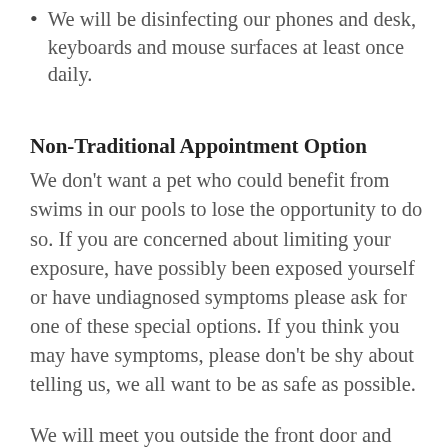We will be disinfecting our phones and desk, keyboards and mouse surfaces at least once daily.
Non-Traditional Appointment Option
We don't want a pet who could benefit from swims in our pools to lose the opportunity to do so. If you are concerned about limiting your exposure, have possibly been exposed yourself or have undiagnosed symptoms please ask for one of these special options. If you think you may have symptoms, please don't be shy about telling us, we all want to be as safe as possible.
We will meet you outside the front door and take your dog inside for a swim. You can remain in your car during the appointment and the coach will speak with you on the phone about your pup's session. We will also check